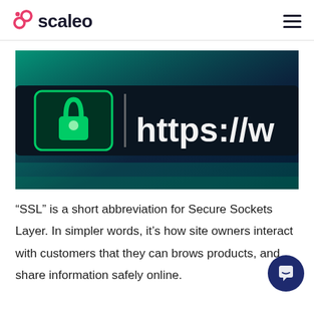scaleo
[Figure (photo): Close-up of a browser address bar showing a green lock icon and 'https://www' text on a dark background with green/teal lighting]
“SSL” is a short abbreviation for Secure Sockets Layer. In simpler words, it’s how site owners interact with customers that they can browse products, and share information safely online.